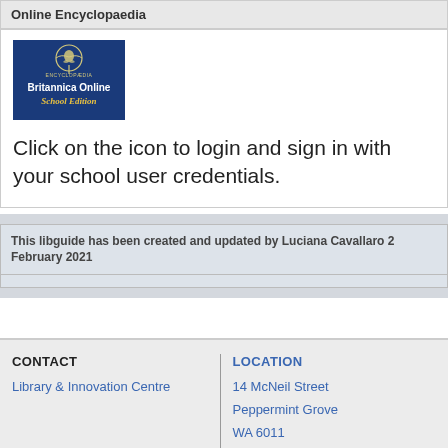Online Encyclopaedia
[Figure (logo): Britannica Online School Edition logo — blue background with white thistle emblem and text]
Click on the icon to login and sign in with your school user credentials.
This libguide has been created and updated by Luciana Cavallaro 2 February 2021
CONTACT
Library & Innovation Centre
LOCATION
14 McNeil Street
Peppermint Grove
WA 6011